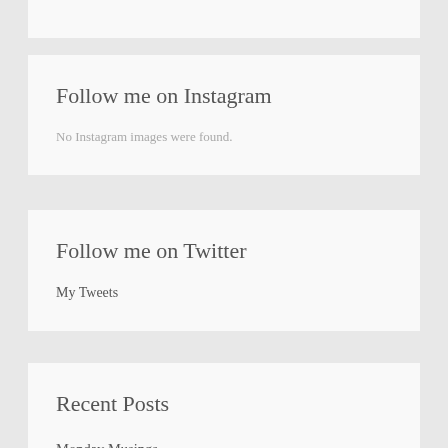Follow me on Instagram
No Instagram images were found.
Follow me on Twitter
My Tweets
Recent Posts
Monday Musings